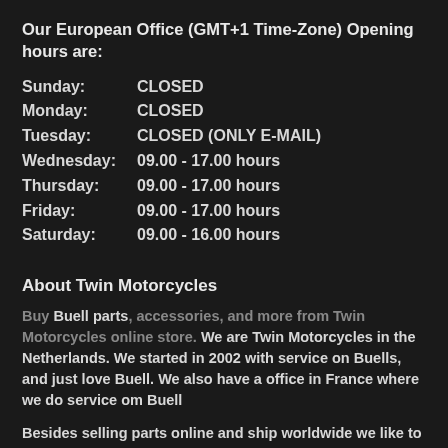Our European Office (GMT+1 Time-Zone) Opening hours are:
Sunday:    CLOSED
Monday:    CLOSED
Tuesday:    CLOSED (ONLY E-MAIL)
Wednesday: 09.00 - 17.00 hours
Thursday:    09.00 - 17.00 hours
Friday:         09.00 - 17.00 hours
Saturday:    09.00 - 16.00 hours
About Twin Motorcycles
Buy Buell parts, accessories, and more from Twin Motorcycles online store. We are Twin Motorcycles in the Netherlands. We started in 2002 with service on Buells, and just love Buell. We also have a office in France where we do service om Buell
Besides selling parts online and ship worldwide we like to support you. We do this to develop parts, write technical articles how to install parts, and learn you how to do maintenance on your Buell.